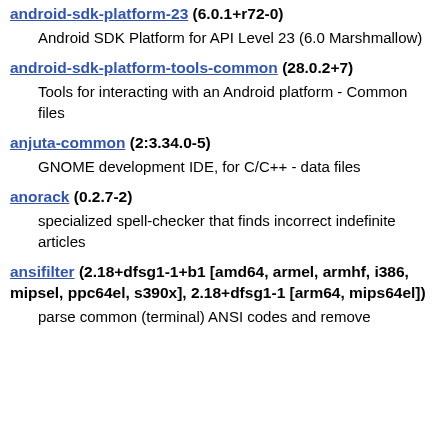android-sdk-platform-23 (6.0.1+r72-0)
Android SDK Platform for API Level 23 (6.0 Marshmallow)
android-sdk-platform-tools-common (28.0.2+7)
Tools for interacting with an Android platform - Common files
anjuta-common (2:3.34.0-5)
GNOME development IDE, for C/C++ - data files
anorack (0.2.7-2)
specialized spell-checker that finds incorrect indefinite articles
ansifilter (2.18+dfsg1-1+b1 [amd64, armel, armhf, i386, mipsel, ppc64el, s390x], 2.18+dfsg1-1 [arm64, mips64el])
parse common (terminal) ANSI codes and remove